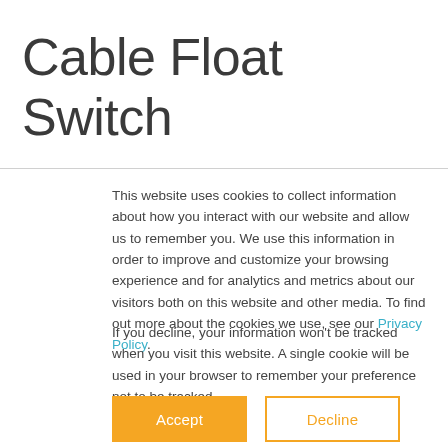Cable Float Switch
This website uses cookies to collect information about how you interact with our website and allow us to remember you. We use this information in order to improve and customize your browsing experience and for analytics and metrics about our visitors both on this website and other media. To find out more about the cookies we use, see our Privacy Policy.
If you decline, your information won't be tracked when you visit this website. A single cookie will be used in your browser to remember your preference not to be tracked.
Accept
Decline